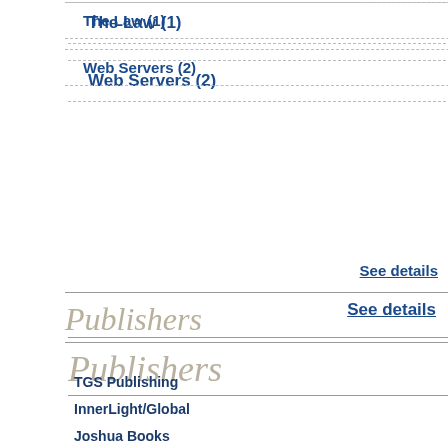The Law (1)
Web Servers (2)
See details
Publishers
TGS Publishing
InnerLight/Global
Joshua Books
Ingram Health
Adventures Unlimited
SkyBooks
Distributors
TruthSeekers
Author
[Figure (photo): Book cover: Proof of an Afterlife by Ross Hemsworth, Vol. 1 - The Dead Are Talking, dark background with skull imagery]